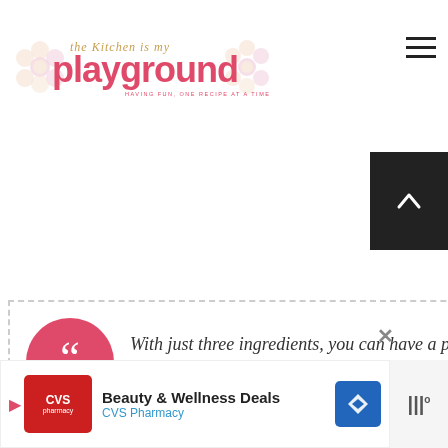the Kitchen is my playground — HAVING FUN, ONE RECIPE AT A TIME
{or two} and some cream cheese to whip up a gift… know what it is about the flavor combination together, but I sure love the taste.
With just three ingredients, you can have a platter ready in minutes.
WHAT'S NEXT → Pickle Dip Roll-Ups
Beauty & Wellness Deals CVS Pharmacy